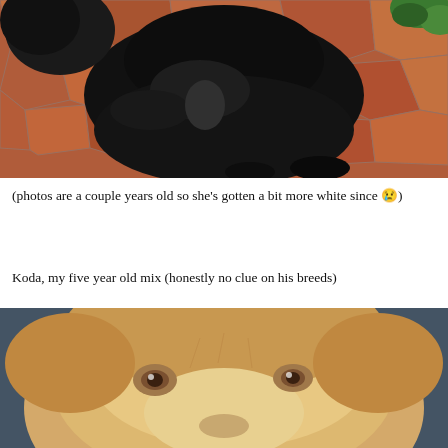[Figure (photo): A black long-haired dog sitting on a red brick/stone patio. The dog has fluffy black fur and its tail is visible. Green plants are visible in the upper right corner.]
(photos are a couple years old so she's gotten a bit more white since 😢)
Koda, my five year old mix (honestly no clue on his breeds)
[Figure (photo): Close-up photo of a golden/cream colored dog looking at the camera with amber eyes. The dog has soft fluffy fur and a gentle expression.]